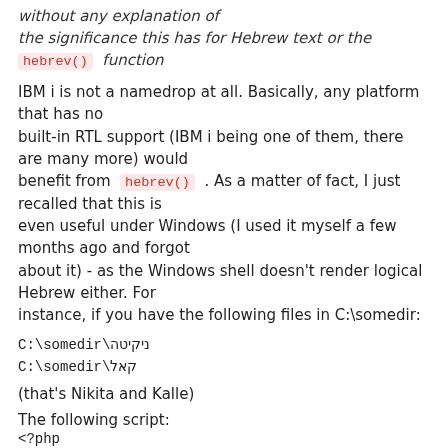without any explanation of the significance this has for Hebrew text or the hebrev() function
IBM i is not a namedrop at all. Basically, any platform that has no built-in RTL support (IBM i being one of them, there are many more) would benefit from hebrev() . As a matter of fact, I just recalled that this is even useful under Windows (I used it myself a few months ago and forgot about it) - as the Windows shell doesn't render logical Hebrew either. For instance, if you have the following files in C:\somedir:
C:\somedir\ניקיטה
C:\somedir\קאל
(that's Nikita and Kalle)
The following script:
<?php
$d = opendir("c:\somedir");